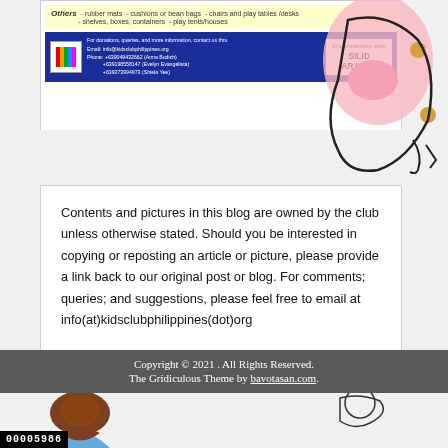[Figure (illustration): Top portion of a flyer with 'Others' section listing rubber mats, cushions or bean bags, chairs and play tables/desks, shelves, boxes, containers, play tents/houses, with a contact bar below showing Kids Club Philippines logo, email, phone numbers, and Silid Aralan partnership logo. A cartoon figure illustration is partially visible on the right.]
Contents and pictures in this blog are owned by the club unless otherwise stated. Should you be interested in copying or reposting an article or picture, please provide a link back to our original post or blog. For comments; queries; and suggestions, please feel free to email at info(at)kidsclubphilippines(dot)org
[Figure (illustration): Partial cartoon illustration of a child figure visible at the bottom of the page.]
Copyright © 2021 . All Rights Reserved.
The Gridiculous Theme by bavotasan.com.
00005986